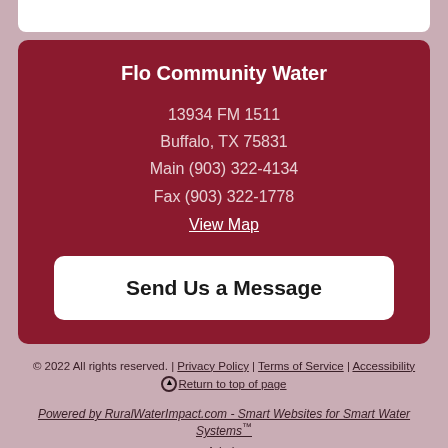Flo Community Water
13934 FM 1511
Buffalo, TX 75831
Main (903) 322-4134
Fax (903) 322-1778
View Map
Send Us a Message
© 2022 All rights reserved. | Privacy Policy | Terms of Service | Accessibility
⊕ Return to top of page
Powered by RuralWaterImpact.com - Smart Websites for Smart Water Systems™
Admin